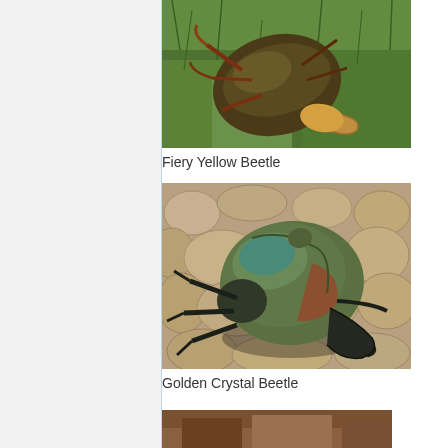[Figure (photo): A dark beetle creature shown upside down on green grass — fantasy game rendering. Top portion of image visible.]
Fiery Yellow Beetle
[Figure (photo): A large beetle creature with a rounded greenish-brown carapace and black legs, standing on stone cobblestones — fantasy game rendering.]
Golden Crystal Beetle
[Figure (photo): Bottom portion of another beetle creature image, partially visible at the bottom of the page.]